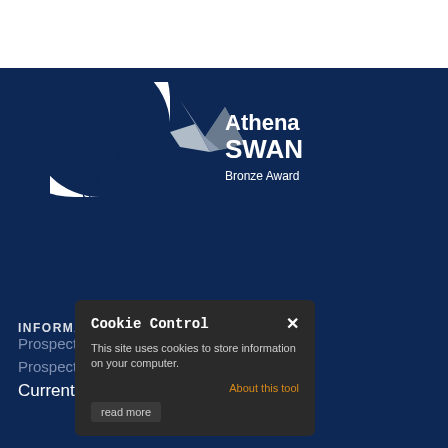[Figure (logo): Athena SWAN Gender Charter Bronze Award logo — white circular arrow shape with text 'GENDER CHARTER' curved along arc, with grey origami bird shape and white text 'Athena SWAN Bronze Award' on dark navy background]
INFORMATION FOR:
Prospective Undergraduate Students
Prospective Graduate Students
Current Oxford Students
[Figure (screenshot): Cookie Control dialog box with dark background. Title 'Cookie Control' with X close button. Body text: 'This site uses cookies to store information on your computer.' Link: 'About this tool'. Button: 'read more']